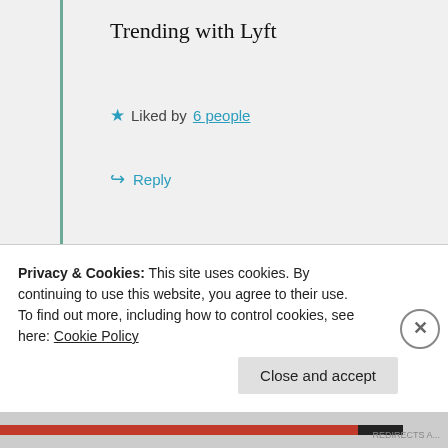Trending with Lyft
★ Liked by 6 people
↪ Reply
Wolf Moon
09/04/2021 @ 02:07 at 02:07
Looks like GoDaddy can go to hell as
Privacy & Cookies: This site uses cookies. By continuing to use this website, you agree to their use.
To find out more, including how to control cookies, see here: Cookie Policy
Close and accept